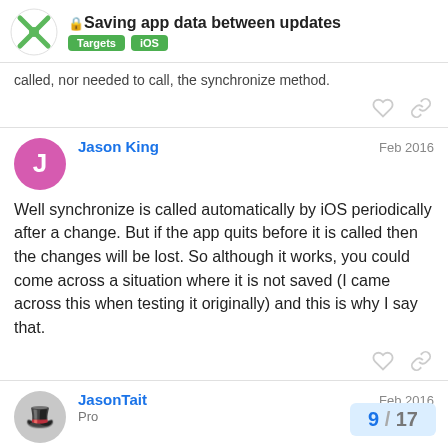Saving app data between updates — Targets | iOS
called, nor needed to call, the synchronize method.
Jason King  Feb 2016
Well synchronize is called automatically by iOS periodically after a change. But if the app quits before it is called then the changes will be lost. So although it works, you could come across a situation where it is not saved (I came across this when testing it originally) and this is why I say that.
JasonTait  Pro  Feb 2016
I see. I only use it for settings in a series o